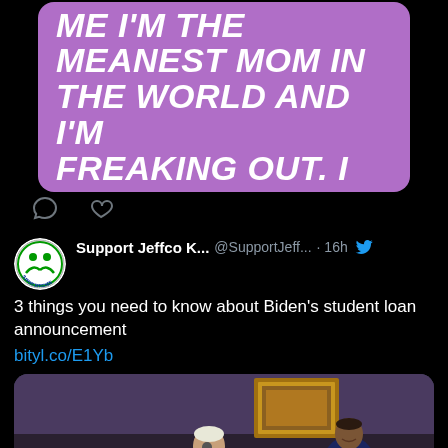[Figure (screenshot): Tweet screenshot showing a purple meme card with white bold italic text: 'MY KID JUST TOLD ME I'M THE MEANEST MOM IN THE WORLD AND I'M FREAKING OUT. I DON'T' with comment and heart icons below on black background.]
[Figure (screenshot): Tweet by Support Jeffco K... (@SupportJeff...) posted 16h ago with Twitter bird icon. Text: '3 things you need to know about Biden's student loan announcement' with link bityl.co/E1Yb and a photo of President Biden speaking at a podium with another official standing behind him.]